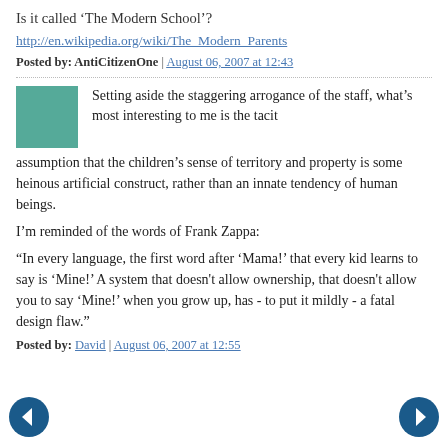Is it called 'The Modern School'?
http://en.wikipedia.org/wiki/The_Modern_Parents
Posted by: AntiCitizenOne | August 06, 2007 at 12:43
Setting aside the staggering arrogance of the staff, what's most interesting to me is the tacit assumption that the children's sense of territory and property is some heinous artificial construct, rather than an innate tendency of human beings.
I'm reminded of the words of Frank Zappa:
“In every language, the first word after ‘Mama!’ that every kid learns to say is ‘Mine!’ A system that doesn't allow ownership, that doesn't allow you to say ‘Mine!’ when you grow up, has - to put it mildly - a fatal design flaw.”
Posted by: David | August 06, 2007 at 12:55